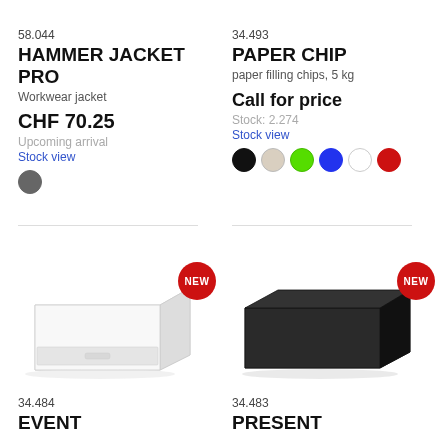58.044
HAMMER JACKET PRO
Workwear jacket
CHF 70.25
Upcoming arrival
Stock view
34.493
PAPER CHIP
paper filling chips, 5 kg
Call for price
Stock: 2.274
Stock view
[Figure (photo): White rectangular box product photo with NEW badge]
[Figure (photo): Black rectangular box product photo with NEW badge]
34.484
EVENT
34.483
PRESENT